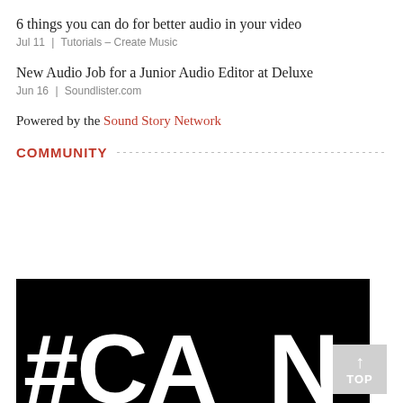6 things you can do for better audio in your video
Jul 11 | Tutorials – Create Music
New Audio Job for a Junior Audio Editor at Deluxe
Jun 16 | Soundlister.com
Powered by the Sound Story Network
COMMUNITY
[Figure (photo): Black background image with large white bold text showing '#CAN' (beginning of a hashtag), partially cut off. A 'TOP' button with an upward arrow appears overlaid at bottom right.]